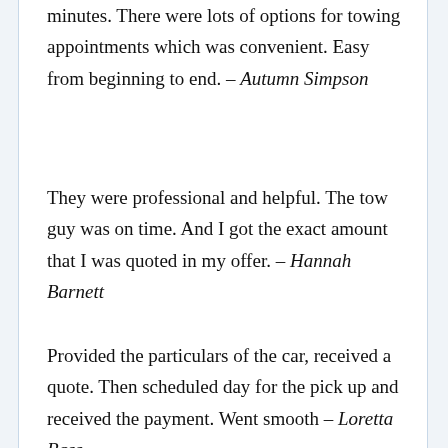minutes. There were lots of options for towing appointments which was convenient. Easy from beginning to end. – Autumn Simpson
They were professional and helpful. The tow guy was on time. And I got the exact amount that I was quoted in my offer. – Hannah Barnett
Provided the particulars of the car, received a quote. Then scheduled day for the pick up and received the payment. Went smooth – Loretta Bass